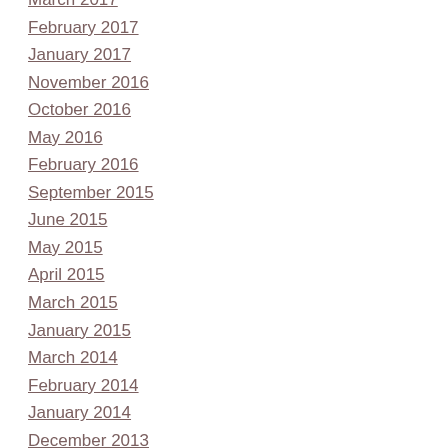March 2017
February 2017
January 2017
November 2016
October 2016
May 2016
February 2016
September 2015
June 2015
May 2015
April 2015
March 2015
January 2015
March 2014
February 2014
January 2014
December 2013
November 2013
October 2013